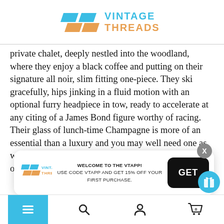[Figure (logo): Vintage Threads logo with blue and orange geometric shapes and text]
private chalet, deeply nestled into the woodland, where they enjoy a black coffee and putting on their signature all noir, slim fitting one-piece. They ski gracefully, hips jinking in a fluid motion with an optional furry headpiece in tow, ready to accelerate at any citing of a James Bond figure worthy of racing. Their glass of lunch-time Champagne is more of an essential than a luxury and you may well need one as well if you are to spot a Bond Villain, they usually only stop off at the most high-end of slope-
[Figure (screenshot): App download popup banner with Vintage Threads logo, welcome message, 15% off code VTAPP, and GET button]
Navigation bar with menu, search, account, and cart icons